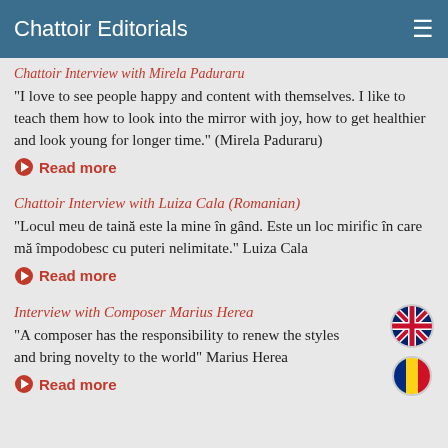Chattoir Editorials
Chattoir Interview with Mirela Paduraru
"I love to see people happy and content with themselves. I like to teach them how to look into the mirror with joy, how to get healthier and look young for longer time." (Mirela Paduraru)
Read more
Chattoir Interview with Luiza Cala (Romanian)
"Locul meu de taină este la mine în gând. Este un loc mirific în care mă împodobesc cu puteri nelimitate." Luiza Cala
Read more
Interview with Composer Marius Herea
"A composer has the responsibility to renew the styles and bring novelty to the world" Marius Herea
Read more
[Figure (illustration): UK flag circle icon and Romanian flag circle icon]